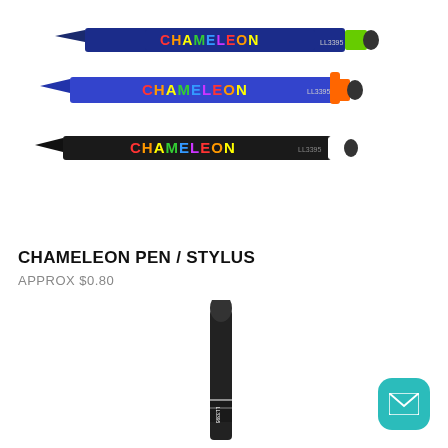[Figure (photo): Three Chameleon Pen/Stylus pens shown horizontally: top pen is dark blue/teal with multicolor CHAMELEON text and green stylus tip, middle pen is royal blue with multicolor CHAMELEON text and orange clip/stylus tip, bottom pen is black with multicolor CHAMELEON text and white stylus tip.]
CHAMELEON PEN / STYLUS
APPROX $0.80
[Figure (photo): Single Chameleon pen shown vertically, black barrel with white clip and dark stylus tip at top, small logo text at bottom.]
[Figure (illustration): Teal rounded square icon with white mail/envelope symbol.]